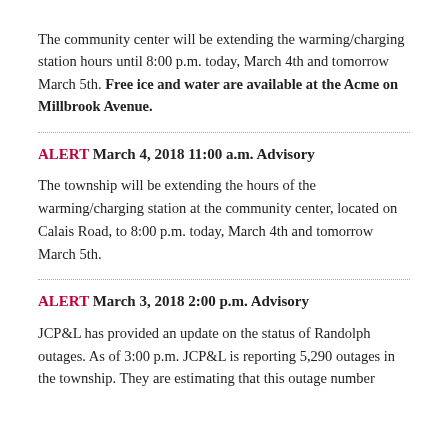The community center will be extending the warming/charging station hours until 8:00 p.m. today, March 4th and tomorrow March 5th. Free ice and water are available at the Acme on Millbrook Avenue.
ALERT March 4, 2018 11:00 a.m. Advisory
The township will be extending the hours of the warming/charging station at the community center, located on Calais Road, to 8:00 p.m. today, March 4th and tomorrow March 5th.
ALERT March 3, 2018 2:00 p.m. Advisory
JCP&L has provided an update on the status of Randolph outages. As of 3:00 p.m. JCP&L is reporting 5,290 outages in the township. They are estimating that this outage number